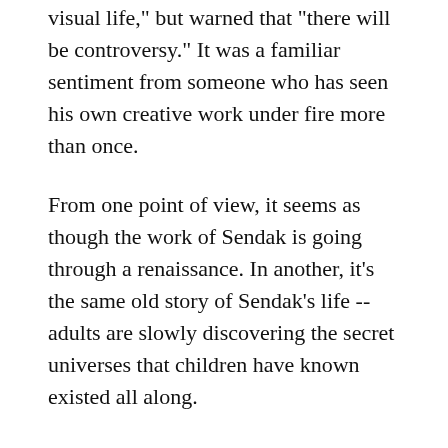visual life," but warned that "there will be controversy." It was a familiar sentiment from someone who has seen his own creative work under fire more than once.
From one point of view, it seems as though the work of Sendak is going through a renaissance. In another, it's the same old story of Sendak's life -- adults are slowly discovering the secret universes that children have known existed all along.